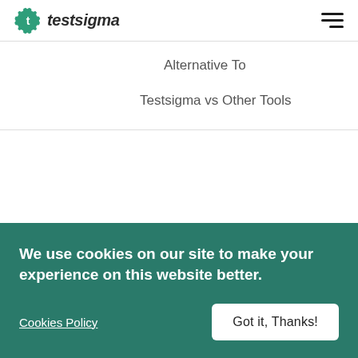[Figure (logo): Testsigma logo with green gear icon and italic text 'testsigma']
[Figure (other): Hamburger menu icon (three horizontal lines, right-aligned)]
Alternative To
Testsigma vs Other Tools
We use cookies on our site to make your experience on this website better.
Cookies Policy
Got it, Thanks!